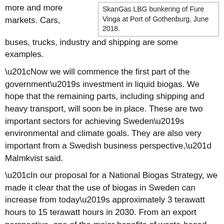more and more markets. Cars, buses, trucks, industry and shipping are some examples.
SkanGas LBG bunkering of Fure Vinga at Port of Gothenburg, June 2018.
“Now we will commence the first part of the government’s investment in liquid biogas. We hope that the remaining parts, including shipping and heavy transport, will soon be in place. These are two important sectors for achieving Sweden’s environmental and climate goals. They are also very important from a Swedish business perspective,” Malmkvist said.
“In our proposal for a National Biogas Strategy, we made it clear that the use of biogas in Sweden can increase from today’s approximately 3 terawatt hours to 15 terawatt hours in 2030. From an export perspective, one of the major benefits of waste-based biogas is that it is a solution that can be implemented and exported globally. All countries have waste that needs to be taken care of,” says Malmkvist added.
Biogas Facts